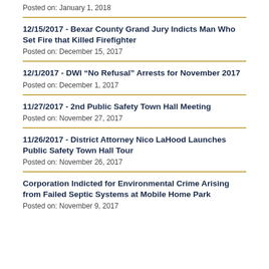Posted on: January 1, 2018
12/15/2017 - Bexar County Grand Jury Indicts Man Who Set Fire that Killed Firefighter
Posted on: December 15, 2017
12/1/2017 - DWI “No Refusal” Arrests for November 2017
Posted on: December 1, 2017
11/27/2017 - 2nd Public Safety Town Hall Meeting
Posted on: November 27, 2017
11/26/2017 - District Attorney Nico LaHood Launches Public Safety Town Hall Tour
Posted on: November 26, 2017
Corporation Indicted for Environmental Crime Arising from Failed Septic Systems at Mobile Home Park
Posted on: November 9, 2017